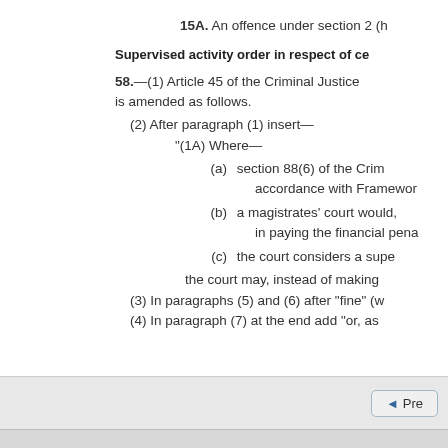15A.  An offence under section 2 (h...
Supervised activity order in respect of ce...
58.—(1) Article 45 of the Criminal Justice ... is amended as follows.
(2) After paragraph (1) insert—
"(1A) Where—
(a)  section 88(6) of the Crim... accordance with Framewor...
(b)  a magistrates' court would... in paying the financial pena...
(c)  the court considers a supe...
the court may, instead of making ...
(3) In paragraphs (5) and (6) after "fine" (w...
(4) In paragraph (7) at the end add "or, as ...
◄ Pre...